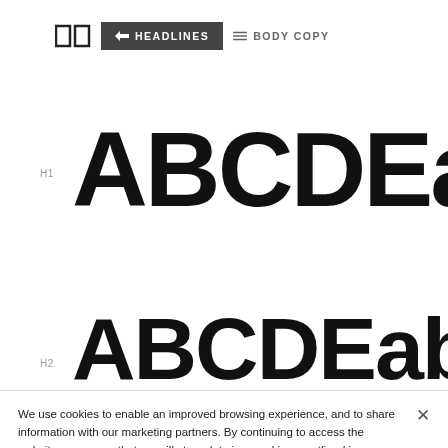HEADLINES  BODY COPY
H1  ABCDEabcde
H2  ABCDEabcde123
We use cookies to enable an improved browsing experience, and to share information with our marketing partners. By continuing to access the website, you agree that we will store data in a cookie as outlined in our Privacy Policy.
Cookies Settings  Accept Cookies